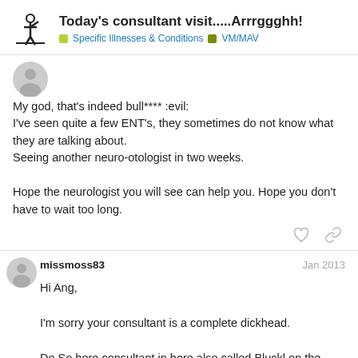Today's consultant visit.....Arrrggghh! > Specific Illnesses & Conditions > VM/MAV
My god, that's indeed bull**** :evil:
I've seen quite a few ENT's, they sometimes do not know what they are talking about.
Seeing another neuro-otologist in two weeks.

Hope the neurologist you will see can help you. Hope you don't have to wait too long.
missmoss83  Jan 2013

Hi Ang,

I'm sorry your consultant is a complete dickhead.

Do So here consultant in here also called Bluckl on the